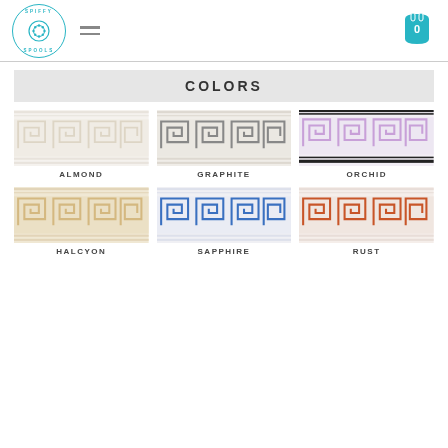Spiffy Spools — Navigation header with logo, menu icon, and cart (0)
COLORS
[Figure (illustration): Greek key trim tape swatch in Almond color — cream/white tones]
ALMOND
[Figure (illustration): Greek key trim tape swatch in Graphite color — gray tones]
GRAPHITE
[Figure (illustration): Greek key trim tape swatch in Orchid color — lavender/purple with dark border stripes]
ORCHID
[Figure (illustration): Greek key trim tape swatch in Halcyon color — tan/beige tones]
HALCYON
[Figure (illustration): Greek key trim tape swatch in Sapphire color — blue tones on light background]
SAPPHIRE
[Figure (illustration): Greek key trim tape swatch in Rust color — orange/rust tones on light background]
RUST